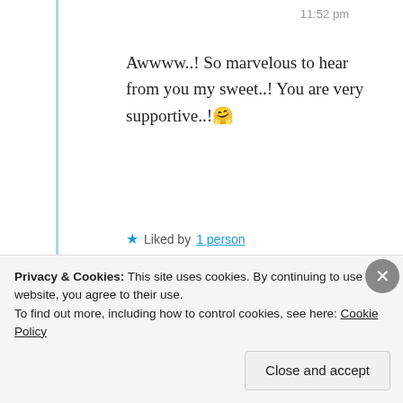11:52 pm
Awwww..! So marvelous to hear from you my sweet..! You are very supportive..!🤗
★ Liked by 1 person
writersiyandamzolo
Privacy & Cookies: This site uses cookies. By continuing to use this website, you agree to their use.
To find out more, including how to control cookies, see here: Cookie Policy
Close and accept